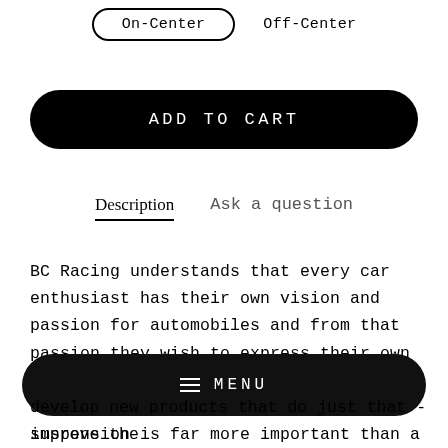[Figure (screenshot): Toggle selector with 'On-Center' (selected, outlined pill button) and 'Off-Center' (plain text) options]
ADD TO CART
Description   Ask a question
BC Racing understands that every car enthusiast has their own vision and passion for automobiles and from that passion they wish to express their own uniqueness through their personal vehicle. For many people, having suspension is far more important than a
MENU
develop new products that do just that - improve the